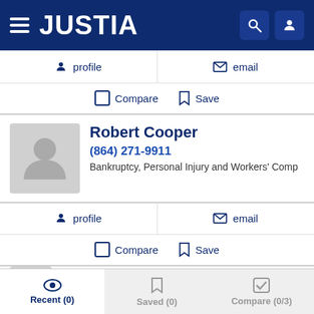[Figure (screenshot): Justia website header with hamburger menu, JUSTIA logo, search icon, and user icon on dark blue background]
profile
email
Compare  Save
Robert Cooper
(864) 271-9911
Bankruptcy, Personal Injury and Workers' Comp
profile
email
Compare  Save
Ashby Lawton Jones
(866) 843-5848
Recent (0)   Saved (0)   Compare (0/3)